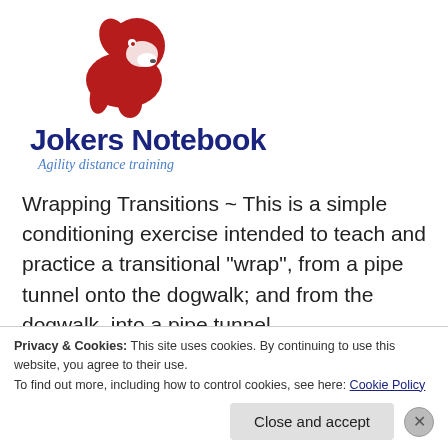[Figure (logo): Jokers Notebook logo: red stylized dog head silhouette with dark navy text 'Jokers Notebook' and italic blue tagline 'Agility distance training']
Wrapping Transitions ~ This is a simple conditioning exercise intended to teach and practice a transitional "wrap", from a pipe tunnel onto the dogwalk; and from the dogwalk, into a pipe tunnel.
[Figure (other): A bordered content box with an inner border and a circled number 4 at the top center.]
Privacy & Cookies: This site uses cookies. By continuing to use this website, you agree to their use.
To find out more, including how to control cookies, see here: Cookie Policy